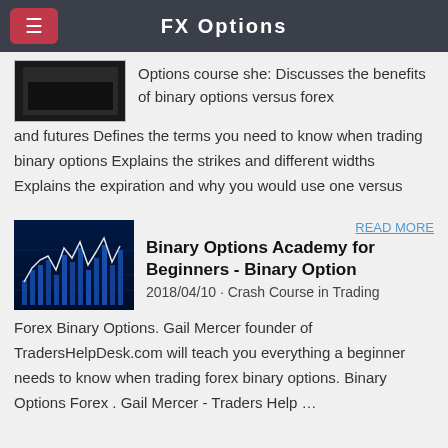FX Options
Options course she: Discusses the benefits of binary options versus forex and futures Defines the terms you need to know when trading binary options Explains the strikes and different widths Explains the expiration and why you would use one versus
READ MORE
[Figure (photo): Stock market chart with blue candlestick/line graph on dark blue background]
Binary Options Academy for Beginners - Binary Option
2018/04/10 · Crash Course in Trading Forex Binary Options. Gail Mercer founder of TradersHelpDesk.com will teach you everything a beginner needs to know when trading forex binary options. Binary Options Forex . Gail Mercer - Traders Help …